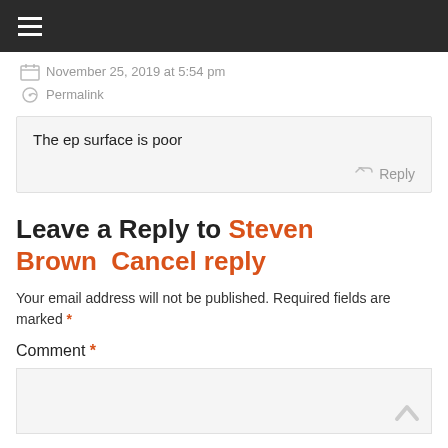November 25, 2019 at 5:54 pm
Permalink
The ep surface is poor
Leave a Reply to Steven Brown   Cancel reply
Your email address will not be published. Required fields are marked *
Comment *